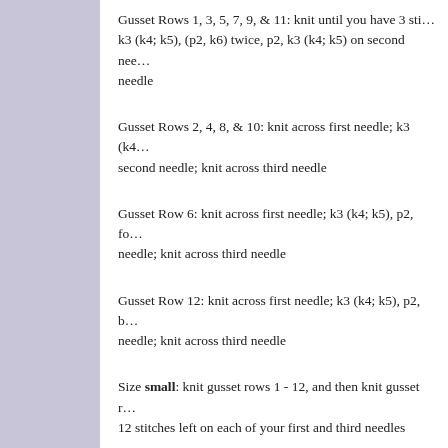Gusset Rows 1, 3, 5, 7, 9, & 11: knit until you have 3 stitches left on first needle; k3 (k4; k5), (p2, k6) twice, p2, k3 (k4; k5) on second needle; knit across third needle
Gusset Rows 2, 4, 8, & 10: knit across first needle; k3 (k4; k5) on second needle; knit across third needle
Gusset Row 6: knit across first needle; k3 (k4; k5), p2, fo... needle; knit across third needle
Gusset Row 12: knit across first needle; k3 (k4; k5), p2, b... needle; knit across third needle
Size small: knit gusset rows 1 - 12, and then knit gusset rows 1 - 12 stitches left on each of your first and third needles
Size medium: knit gusset rows 1 - 12, and then knit guss...